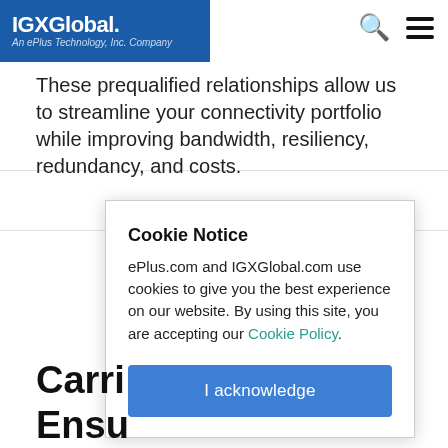[Figure (logo): IGXGlobal logo — white text on blue background, 'An ePlus Technology, Inc. Company' subtitle]
These prequalified relationships allow us to streamline your connectivity portfolio while improving bandwidth, resiliency, redundancy, and costs.
Cookie Notice
ePlus.com and IGXGlobal.com use cookies to give you the best experience on our website. By using this site, you are accepting our Cookie Policy.
I acknowledge
Carri… ent
Ensu… ce